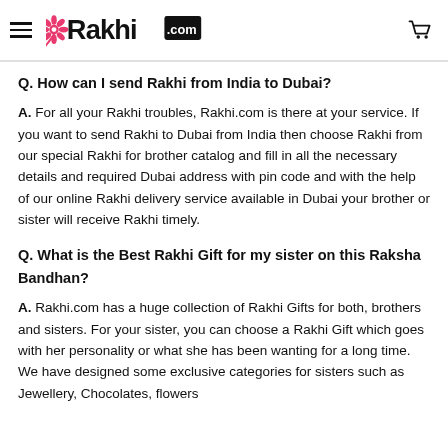Rakhi.com
Q. How can I send Rakhi from India to Dubai?
A. For all your Rakhi troubles, Rakhi.com is there at your service. If you want to send Rakhi to Dubai from India then choose Rakhi from our special Rakhi for brother catalog and fill in all the necessary details and required Dubai address with pin code and with the help of our online Rakhi delivery service available in Dubai your brother or sister will receive Rakhi timely.
Q. What is the Best Rakhi Gift for my sister on this Raksha Bandhan?
A. Rakhi.com has a huge collection of Rakhi Gifts for both, brothers and sisters. For your sister, you can choose a Rakhi Gift which goes with her personality or what she has been wanting for a long time. We have designed some exclusive categories for sisters such as Jewellery, Chocolates, flowers